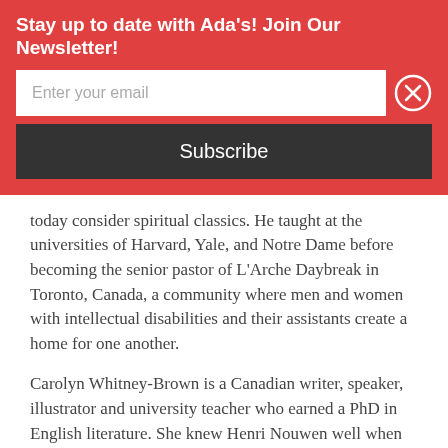Stay up to date with Ada's! Join Our Newsletter!
today consider spiritual classics. He taught at the universities of Harvard, Yale, and Notre Dame before becoming the senior pastor of L'Arche Daybreak in Toronto, Canada, a community where men and women with intellectual disabilities and their assistants create a home for one another.
Carolyn Whitney-Brown is a Canadian writer, speaker, illustrator and university teacher who earned a PhD in English literature. She knew Henri Nouwen well when she and her family lived in the L'Arche Daybreak community from 1990 until Henri's death in 1996. She lives on Vancouver Island with her husband.
Praise For...